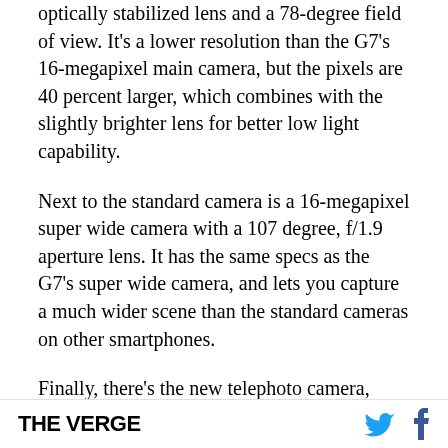optically stabilized lens and a 78-degree field of view. It's a lower resolution than the G7's 16-megapixel main camera, but the pixels are 40 percent larger, which combines with the slightly brighter lens for better low light capability.
Next to the standard camera is a 16-megapixel super wide camera with a 107 degree, f/1.9 aperture lens. It has the same specs as the G7's super wide camera, and lets you capture a much wider scene than the standard cameras on other smartphones.
Finally, there's the new telephoto camera, which has 12 megapixels of resolution and a 45-de...
THE VERGE